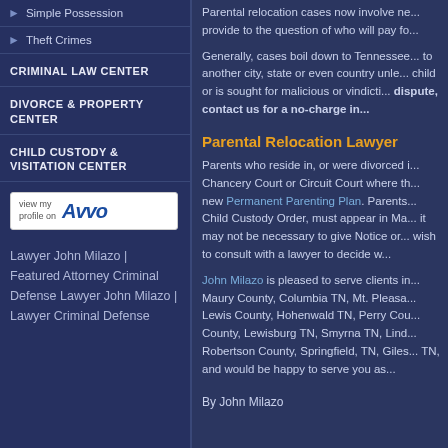Simple Possession
Theft Crimes
CRIMINAL LAW CENTER
DIVORCE & PROPERTY CENTER
CHILD CUSTODY & VISITATION CENTER
[Figure (logo): Avvo profile badge: 'view my profile on Avvo' with Avvo logo]
Lawyer John Milazo | Featured Attorney Criminal Defense Lawyer John Milazo | Lawyer Criminal Defense
Parental relocation cases now involve ne... provide to the question of who will pay fo...
Generally, cases boil down to Tennessee... to another city, state or even country unle... child or is sought for malicious or vindicti... dispute, contact us for a no-charge in...
Parental Relocation Lawyer
Parents who reside in, or were divorced i... Chancery Court or Circuit Court where th... new Permanent Parenting Plan. Parents... Child Custody Order, must appear in Ma... it may not be necessary to give Notice or... wish to consult with a lawyer to decide w...
John Milazo is pleased to serve clients in... Maury County, Columbia TN, Mt. Pleasa... Lewis County, Hohenwald TN, Perry Cou... County, Lewisburg TN, Smyrna TN, Lind... Robertson County, Springfield, TN, Giles... TN, and would be happy to serve you as...
By John Milazo